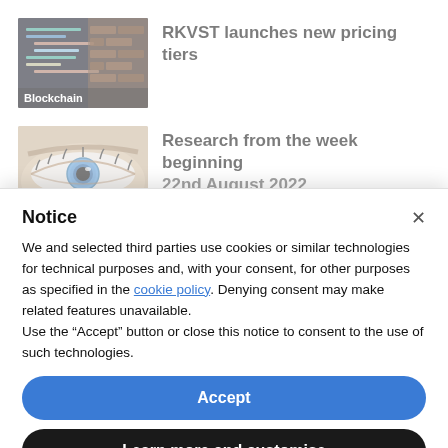[Figure (screenshot): Thumbnail image showing code on a dark screen with brick wall, labeled 'Blockchain']
RKVST launches new pricing tiers
[Figure (photo): Thumbnail image of a close-up human eye]
Research from the week beginning 22nd August 2022
Notice
We and selected third parties use cookies or similar technologies for technical purposes and, with your consent, for other purposes as specified in the cookie policy. Denying consent may make related features unavailable.
Use the “Accept” button or close this notice to consent to the use of such technologies.